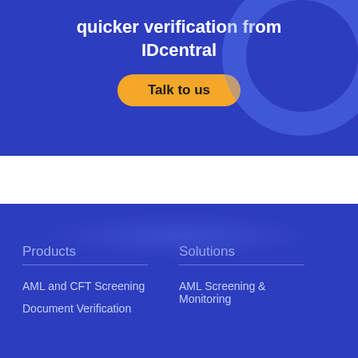quicker verification from IDcentral
Talk to us
Products
Solutions
AML and CFT Screening
Document Verification
AML Screening & Monitoring